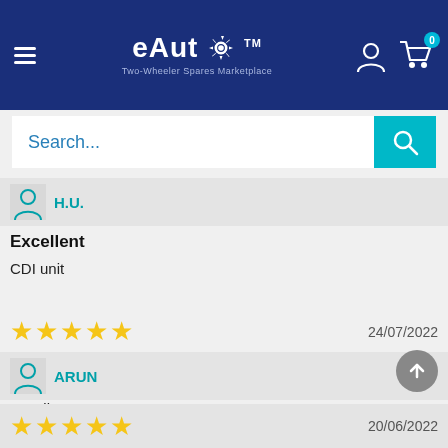[Figure (logo): eAuto logo with gear icon and tagline 'Two-Wheeler Spares Marketplace' on dark blue header background with hamburger menu, user icon, and cart icon with badge '0']
[Figure (screenshot): Search bar with placeholder text 'Search...' in blue text on white background, with teal search button]
H.U.
Excellent
CDI unit
★★★★★  24/07/2022
ARUN
Excellent
★★★★★  20/06/2022